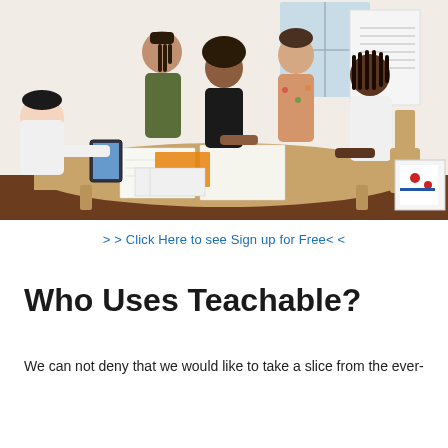[Figure (photo): Five women of diverse backgrounds gathered around a wooden table, working together on documents and papers. One woman in an olive dress stands behind, one in a black top is seated writing, one in a floral top stands to the right, one in white with dreadlocks is writing, and one in white on the far left is looking down. A tablet, notebooks, and colorful papers are on the table. A whiteboard stands in the background in a bright room.]
> > Click Here to see Sign up for Free< <
Who Uses Teachable?
We can not deny that we would like to take a slice from the ever-